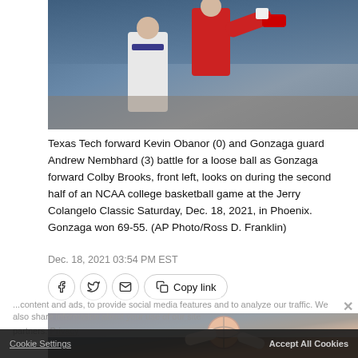[Figure (photo): Basketball players — Texas Tech forward Kevin Obanor and Gonzaga guard Andrew Nembhard battling for a loose ball, with Colby Brooks in foreground]
Texas Tech forward Kevin Obanor (0) and Gonzaga guard Andrew Nembhard (3) battle for a loose ball as Gonzaga forward Colby Brooks, front left, looks on during the second half of an NCAA college basketball game at the Jerry Colangelo Classic Saturday, Dec. 18, 2021, in Phoenix. Gonzaga won 69-55. (AP Photo/Ross D. Franklin)
Dec. 18, 2021 03:54 PM EST
[Figure (photo): Second basketball photo showing players and basketball from below/court angle]